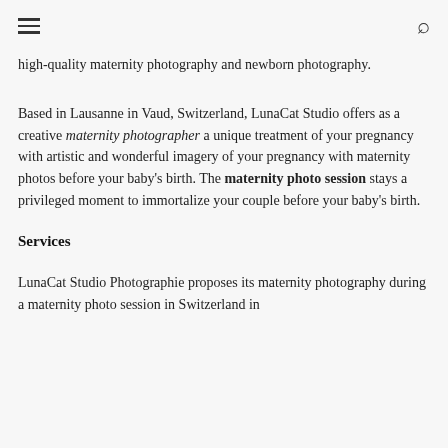[hamburger menu] [search icon]
high-quality maternity photography and newborn photography.
Based in Lausanne in Vaud, Switzerland, LunaCat Studio offers as a creative maternity photographer a unique treatment of your pregnancy with artistic and wonderful imagery of your pregnancy with maternity photos before your baby's birth. The maternity photo session stays a privileged moment to immortalize your couple before your baby's birth.
Services
LunaCat Studio Photographie proposes its maternity photography during a maternity photo session in Switzerland in